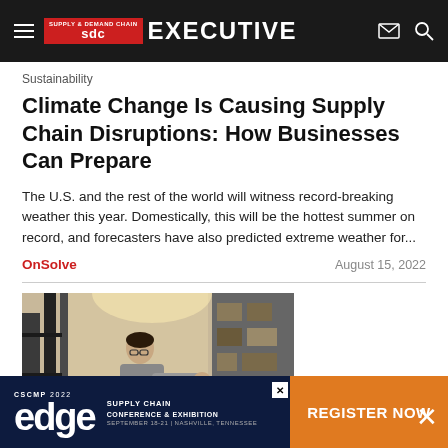Supply & Demand Chain Executive
Sustainability
Climate Change Is Causing Supply Chain Disruptions: How Businesses Can Prepare
The U.S. and the rest of the world will witness record-breaking weather this year. Domestically, this will be the hottest summer on record, and forecasters have also predicted extreme weather for...
OnSolve    August 15, 2022
[Figure (photo): Person working in a warehouse aisle with shelves of products]
Warehousing
[Figure (other): CSCMP 2022 Edge Supply Chain Conference & Exhibition advertisement banner with Register Now button]